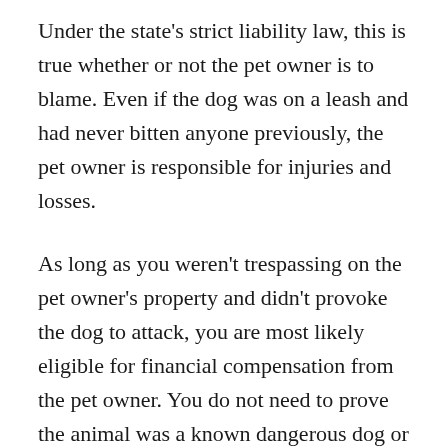Under the state's strict liability law, this is true whether or not the pet owner is to blame. Even if the dog was on a leash and had never bitten anyone previously, the pet owner is responsible for injuries and losses.
As long as you weren't trespassing on the pet owner's property and didn't provoke the dog to attack, you are most likely eligible for financial compensation from the pet owner. You do not need to prove the animal was a known dangerous dog or the owner was at fault. If you did provoke the attack in